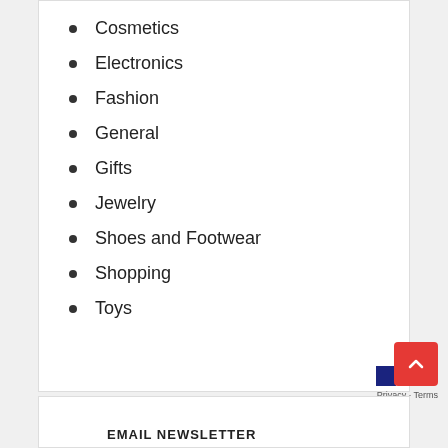Cosmetics
Electronics
Fashion
General
Gifts
Jewelry
Shoes and Footwear
Shopping
Toys
EMAIL NEWSLETTER